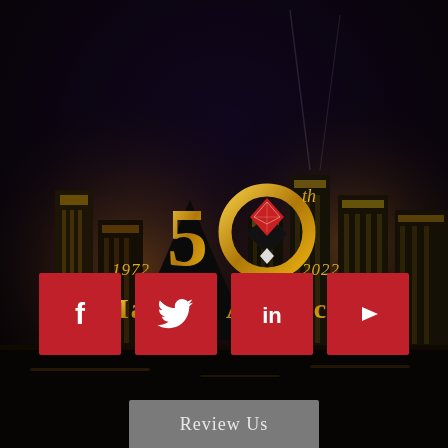[Figure (photo): Las Vegas Strip skyline at night with illuminated buildings and lights, dark sky background]
[Figure (logo): Marquis Aurbach 50th anniversary logo (1972-2022) with gold '50th' text, diamond card suit symbols in black and red/white, and 'Marquis Aurbach' text in gold serif font]
[Figure (infographic): Four red square social media icon buttons in a row: Facebook (f), Twitter (bird), LinkedIn (in), YouTube (play button)]
Review Us